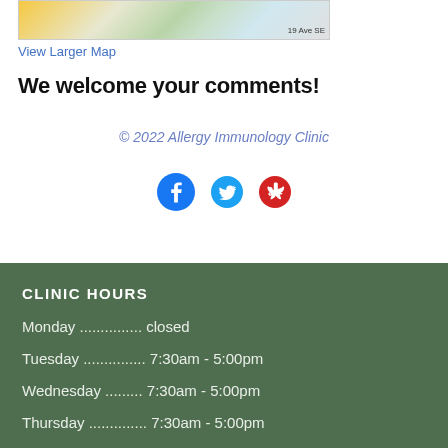[Figure (map): Partial map screenshot showing street area near 19 Ave SE]
View Larger Map
We welcome your comments!
© 2022 Allergy Immunology Clinic
[Figure (other): Social media icons: Facebook, Twitter, Yelp]
CLINIC HOURS
Monday ............... closed
Tuesday ............... 7:30am - 5:00pm
Wednesday ......... 7:30am - 5:00pm
Thursday .............. 7:30am - 5:00pm
Friday .................. 7:30am - 5:00pm